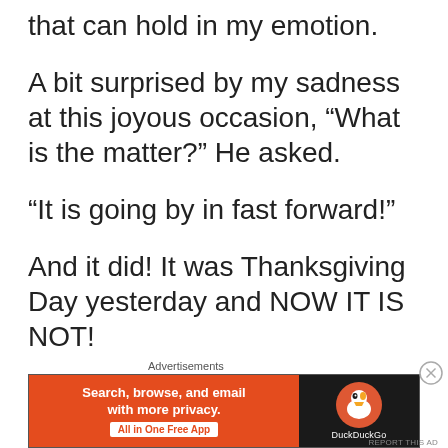that can hold in my emotion.
A bit surprised by my sadness at this joyous occasion, “What is the matter?”  He asked.
“It is going by in fast forward!”
And it did!  It was Thanksgiving Day yesterday and NOW IT IS NOT!
Advertisements
[Figure (screenshot): DuckDuckGo advertisement banner: orange left panel with white text 'Search, browse, and email with more privacy. All in One Free App' and dark right panel with DuckDuckGo duck logo]